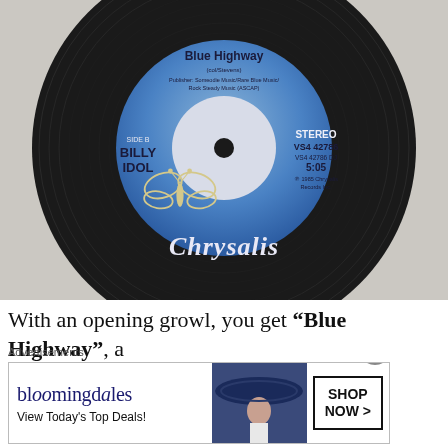[Figure (photo): Photo of a black vinyl 45 RPM record (Side B) on a light gray/beige background. The record has a blue Chrysalis label with a butterfly logo. Text on label: 'Blue Highway', 'SIDE B', 'BILLY IDOL', 'STEREO', 'VS4 42786', '5:05', 'Chrysalis'.]
With an opening growl, you get “Blue Highway”, a
Advertisements
[Figure (other): Bloomingdale's advertisement banner: 'bloomingdales / View Today's Top Deals!' with a woman in a large blue hat and a 'SHOP NOW >' button.]